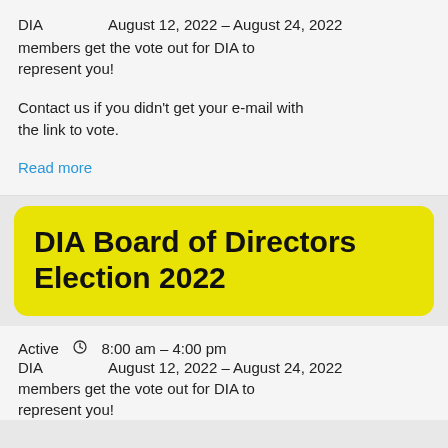DIA   August 12, 2022 – August 24, 2022 members get the vote out for DIA to represent you!
Contact us if you didn't get your e-mail with the link to vote.
Read more
DIA Board of Directors Election 2022
Active  🕐  8:00 am – 4:00 pm
DIA   August 12, 2022 – August 24, 2022 members get the vote out for DIA to represent you!